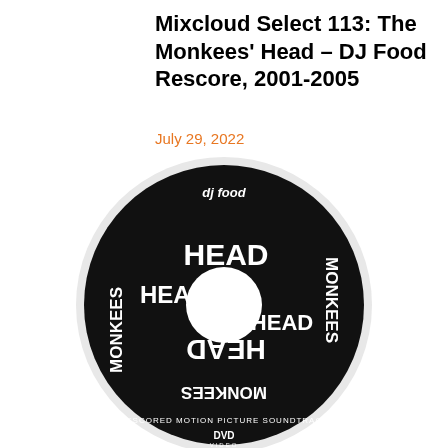Mixcloud Select 113: The Monkees' Head – DJ Food Rescore, 2001-2005
July 29, 2022
[Figure (photo): A black DVD disc for the Monkees' Head Rescored Motion Picture Soundtrack by DJ Food. The disc features bold white text reading MONKEES and HEAD repeated in various orientations around a central white hole. The DJ Food logo appears at the top, and 'RESCORED MOTION PICTURE SOUNDTRACK' and a DVD Video logo appear at the bottom.]